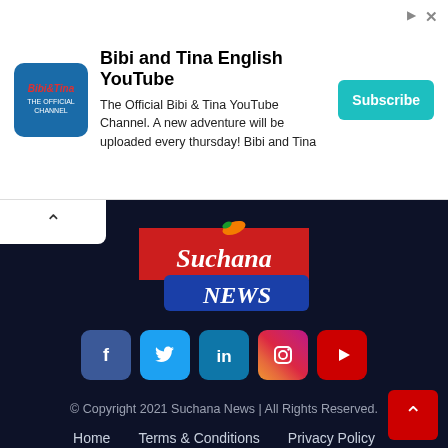[Figure (screenshot): Advertisement banner for 'Bibi and Tina English YouTube' channel with logo, description text, and Subscribe button]
Bibi and Tina English YouTube
The Official Bibi & Tina YouTube Channel. A new adventure will be uploaded every thursday! Bibi and Tina
[Figure (logo): Suchana News logo with red speech bubble containing 'Suchana' in white serif font and blue 'NEWS' banner below, with orange bird/pen mascot on top]
[Figure (infographic): Social media icon row: Facebook, Twitter, LinkedIn, Instagram, YouTube]
© Copyright 2021 Suchana News | All Rights Reserved.
Home
Terms & Conditions
Privacy Policy
Contact Us
Press Releases ▾